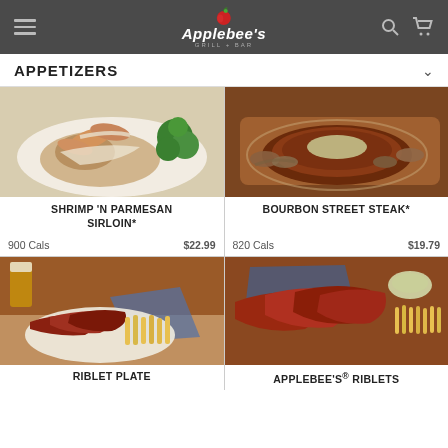Applebee's Grill + Bar
APPETIZERS
[Figure (photo): Shrimp 'N Parmesan Sirloin dish with shrimp, steak, broccoli and cream sauce on a plate]
SHRIMP 'N PARMESAN SIRLOIN*
900 Cals    $22.99
[Figure (photo): Bourbon Street Steak with herb butter, mushrooms and onions on a plate]
BOURBON STREET STEAK*
820 Cals    $19.79
[Figure (photo): Riblet Plate with glazed riblets and french fries on a plate]
RIBLET PLATE
[Figure (photo): Applebee's Riblets with BBQ sauce and french fries on a plate]
APPLEBEE'S® RIBLETS